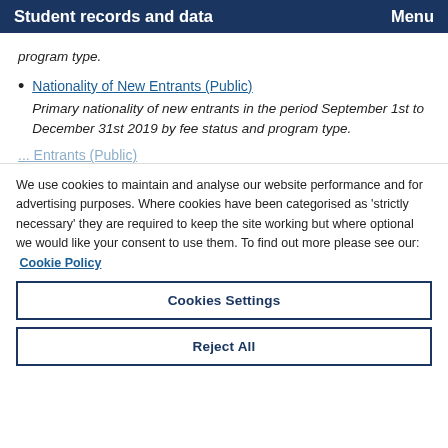Student records and data  Menu
program type.
Nationality of New Entrants (Public)
Primary nationality of new entrants in the period September 1st to December 31st 2019 by fee status and program type.
We use cookies to maintain and analyse our website performance and for advertising purposes. Where cookies have been categorised as 'strictly necessary' they are required to keep the site working but where optional we would like your consent to use them. To find out more please see our: Cookie Policy
Cookies Settings
Reject All